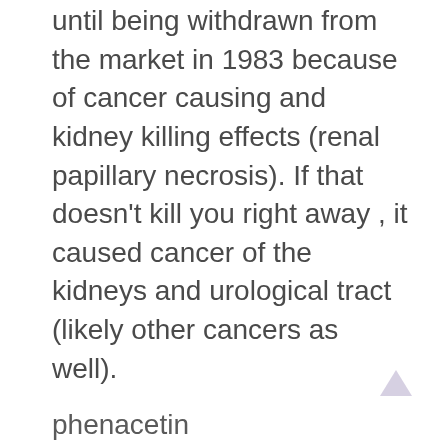until being withdrawn from the market in 1983 because of cancer causing and kidney killing effects (renal papillary necrosis). If that doesn't kill you right away , it caused cancer of the kidneys and urological tract (likely other cancers as well).
phenacetin
A metabolite of phenacetin was observed, then synthesized and has been independently marketed since 1887, it is called acetaminophen or paracetamol or APAP or Tylenol. It is the first direct metabolite of phenacetin in people.
acetaminophen
It was mixed with various other compounds